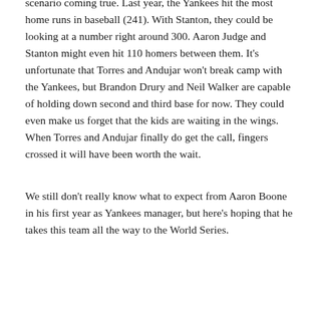scenario coming true. Last year, the Yankees hit the most home runs in baseball (241). With Stanton, they could be looking at a number right around 300. Aaron Judge and Stanton might even hit 110 homers between them. It’s unfortunate that Torres and Andujar won’t break camp with the Yankees, but Brandon Drury and Neil Walker are capable of holding down second and third base for now. They could even make us forget that the kids are waiting in the wings. When Torres and Andujar finally do get the call, fingers crossed it will have been worth the wait.
We still don’t really know what to expect from Aaron Boone in his first year as Yankees manager, but here’s hoping that he takes this team all the way to the World Series.